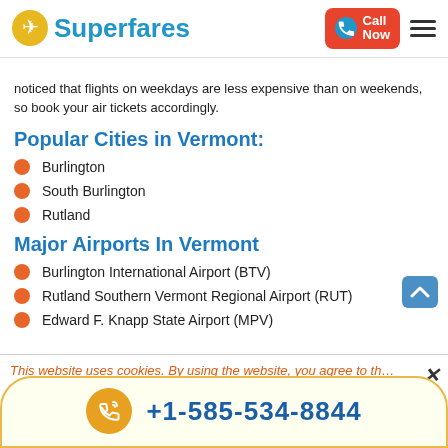Superfares | Call Now
noticed that flights on weekdays are less expensive than on weekends, so book your air tickets accordingly.
Popular Cities in Vermont:
Burlington
South Burlington
Rutland
Major Airports In Vermont
Burlington International Airport (BTV)
Rutland Southern Vermont Regional Airport (RUT)
Edward F. Knapp State Airport (MPV)
This website uses cookies. By using the website, you agree to th…
+1-585-534-8844